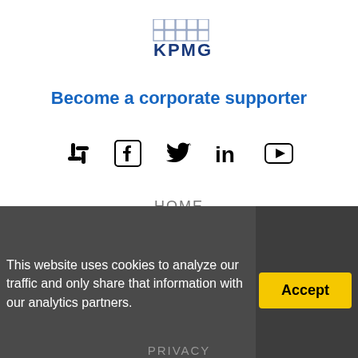[Figure (logo): KPMG corporate logo with blue text and grid pattern]
Become a corporate supporter
[Figure (infographic): Row of 5 social media icons: Slack, Facebook, Twitter, LinkedIn, YouTube]
HOME
PROJECTS
CHAPTERS
EVENTS
ABOUT
This website uses cookies to analyze our traffic and only share that information with our analytics partners.
PRIVACY